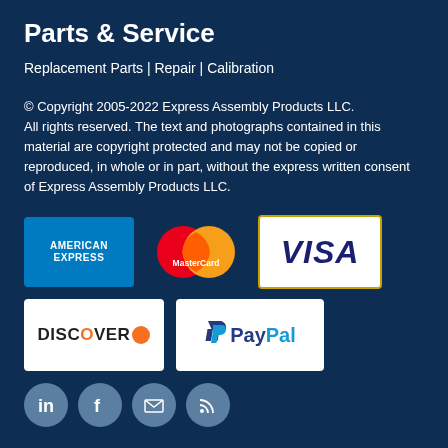Parts & Service
Replacement Parts | Repair | Calibration
© Copyright 2005-2022 Express Assembly Products LLC. All rights reserved. The text and photographs contained in this material are copyright protected and may not be copied or reproduced, in whole or in part, without the express written consent of Express Assembly Products LLC.
[Figure (logo): Payment method logos: American Express, MasterCard, Visa, Discover, PayPal]
[Figure (logo): Social media icons: LinkedIn, Facebook, Twitter/Email, RSS]